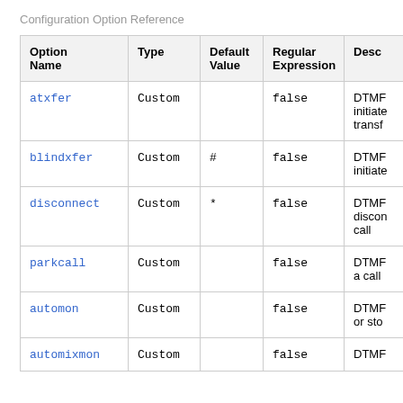Configuration Option Reference
| Option Name | Type | Default Value | Regular Expression | Desc |
| --- | --- | --- | --- | --- |
| atxfer | Custom |  | false | DTMF initiated transf |
| blindxfer | Custom | # | false | DTMF initiate |
| disconnect | Custom | * | false | DTMF discon call |
| parkcall | Custom |  | false | DTMF a call |
| automon | Custom |  | false | DTMF or sto |
| automixmon | Custom |  | false | DTMF |